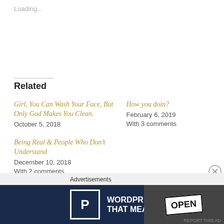Loading...
Related
Girl, You Can Wash Your Face, But Only God Makes You Clean.
October 5, 2018
How you doin?
February 6, 2019
With 3 comments
Being Real & People Who Don’t Understand
December 10, 2018
With 2 comments
[Figure (screenshot): Advertisement banner for WordPress Hosting with a P logo, text 'WORDPRESS HOSTING THAT MEANS BUSINESS.' and an OPEN sign photo on the right]
Advertisements